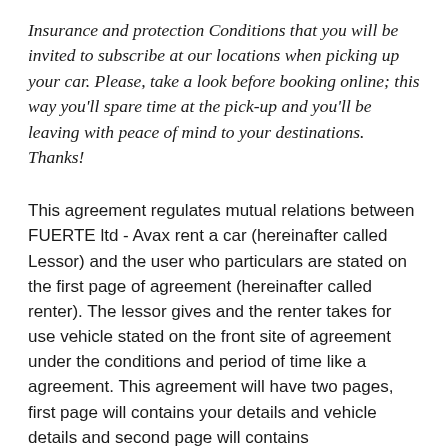Insurance and protection Conditions that you will be invited to subscribe at our locations when picking up your car. Please, take a look before booking online; this way you'll spare time at the pick-up and you'll be leaving with peace of mind to your destinations. Thanks!
This agreement regulates mutual relations between FUERTE ltd - Avax rent a car (hereinafter called Lessor) and the user who particulars are stated on the first page of agreement (hereinafter called renter). The lessor gives and the renter takes for use vehicle stated on the front site of agreement under the conditions and period of time like a agreement. This agreement will have two pages, first page will contains your details and vehicle details and second page will contains